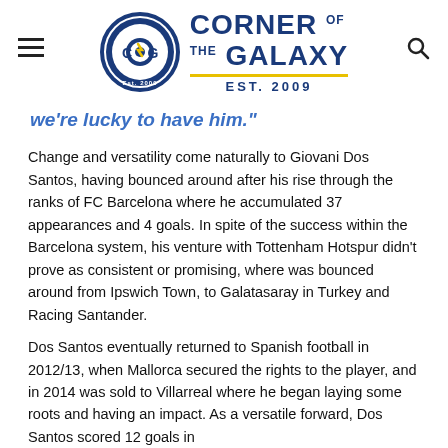Corner of the Galaxy — Est. 2009
we're lucky to have him."
Change and versatility come naturally to Giovani Dos Santos, having bounced around after his rise through the ranks of FC Barcelona where he accumulated 37 appearances and 4 goals. In spite of the success within the Barcelona system, his venture with Tottenham Hotspur didn't prove as consistent or promising, where was bounced around from Ipswich Town, to Galatasaray in Turkey and Racing Santander.
Dos Santos eventually returned to Spanish football in 2012/13, when Mallorca secured the rights to the player, and in 2014 was sold to Villarreal where he began laying some roots and having an impact. As a versatile forward, Dos Santos scored 12 goals in